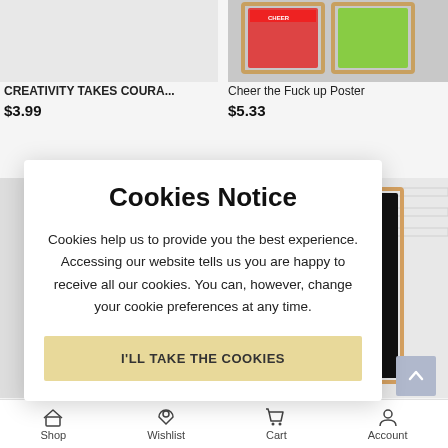[Figure (screenshot): Product image placeholder for CREATIVITY TAKES COURA... poster, light grey background]
CREATIVITY TAKES COURA...
$3.99
[Figure (photo): Product image showing framed prints on a wall - red and green posters]
Cheer the Fuck up Poster
$5.33
[Figure (screenshot): Cookie consent notice modal overlay with title, body text, and accept button]
Cookies Notice
Cookies help us to provide you the best experience. Accessing our website tells us you are happy to receive all our cookies. You can, however, change your cookie preferences at any time.
I'LL TAKE THE COOKIES
[Figure (photo): Neon sign art print on black background showing 'etter gether' text in pink neon style, framed on white brick wall]
ther Typograp...
Shop   Wishlist   Cart   Account